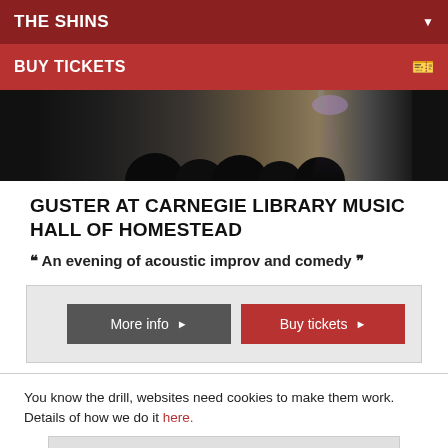THE SHINS
BUY TICKETS
[Figure (photo): Concert photo showing silhouettes of audience members and performers on stage with lighting]
GUSTER AT CARNEGIE LIBRARY MUSIC HALL OF HOMESTEAD
““ An evening of acoustic improv and comedy ””
More info ►   Buy tickets ►
You know the drill, websites need cookies to make them work. Details of how we do it here.
Got it!